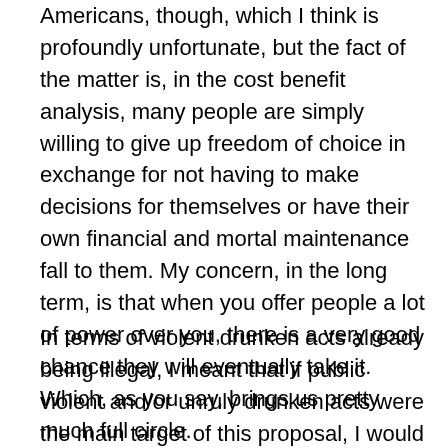Americans, though, which I think is profoundly unfortunate, but the fact of the matter is, in the cost benefit analysis, many people are simply willing to give up freedom of choice in exchange for not having to make decisions for themselves or have their own financial and mortal maintenance fall to them. My concern, in the long term, is that when you offer people a lot of power over you, there is a very good chance they will eventually take it. Which, as you say, brings us pretty much full circle.
In terms of violent drunken acts already being illegal, I meant that if public violent and/or unruly drunken acts were the main target of this proposal, I would expect to see a proposal that targeted public acts